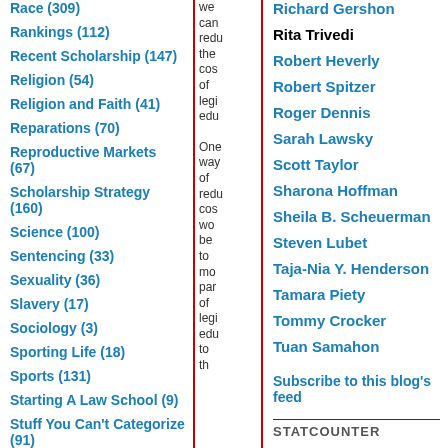Race (309)
Rankings (112)
Recent Scholarship (147)
Religion (54)
Religion and Faith (41)
Reparations (70)
Reproductive Markets (67)
Scholarship Strategy (160)
Science (100)
Sentencing (33)
Sexuality (36)
Slavery (17)
Sociology (3)
Sporting Life (18)
Sports (131)
Starting A Law School (9)
Stuff You Can't Categorize (91)
Supreme Court (159)
we can redu the cos of legi edu ... One way of redu cos wo be to mo par of legi edu to th
Richard Gershon
Rita Trivedi
Robert Heverly
Robert Spitzer
Roger Dennis
Sarah Lawsky
Scott Taylor
Sharona Hoffman
Sheila B. Scheuerman
Steven Lubet
Taja-Nia Y. Henderson
Tamara Piety
Tommy Crocker
Tuan Samahon
Subscribe to this blog's feed
STATCOUNTER
StatCounter